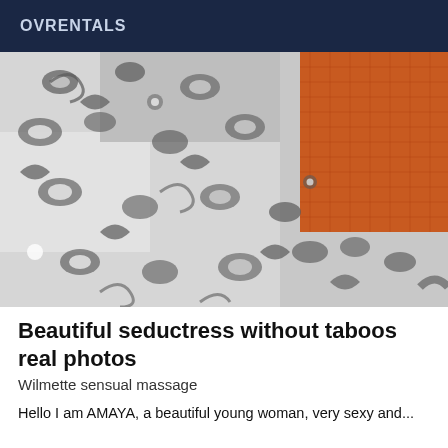OVRENTALS
[Figure (photo): Close-up photo of a decorative floral patterned fabric in gray/white with an orange textured surface visible in the upper right corner.]
Beautiful seductress without taboos real photos
Wilmette sensual massage
Hello I am AMAYA, a beautiful young woman, very sexy and...